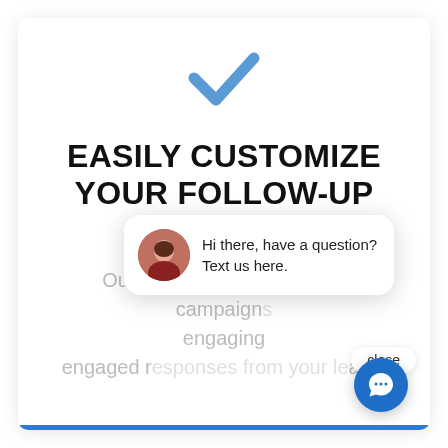[Figure (illustration): Blue checkmark icon centered near top of card]
EASILY CUSTOMIZE YOUR FOLLOW-UP CAMPAIGNS
Our Multi-channel follow-up campaigns engaging engaged responses from your leads.
[Figure (screenshot): Chat popup overlay with avatar photo of woman and text 'Hi there, have a question? Text us here.' with a close button, and a blue chat icon circle in bottom right]